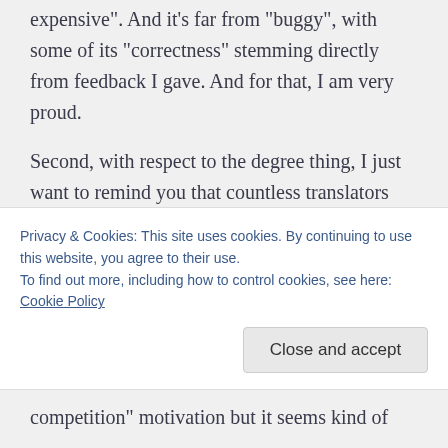expensive". And it’s far from “buggy”, with some of its “correctness” stemming directly from feedback I gave. And for that, I am very proud.
Second, with respect to the degree thing, I just want to remind you that countless translators (including me) don’t have a degree in translation/linguistics. According to surveys by the SFT (France) and FIT Europe, the ratio is somewhere between
Privacy & Cookies: This site uses cookies. By continuing to use this website, you agree to their use.
To find out more, including how to control cookies, see here: Cookie Policy
Close and accept
competition” motivation but it seems kind of